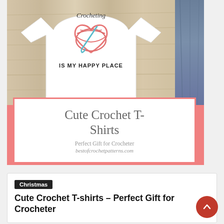[Figure (photo): A white t-shirt with a crochet-themed graphic — a heart made of pink yarn with a teal crochet hook, and the text 'IS MY HAPPY PLACE' below. The shirt is laid flat on a wooden surface next to folded jeans.]
Cute Crochet T-Shirts
Perfect Gift for Crocheter
bestofcrochetpatterns.com
Christmas
Cute Crochet T-shirts – Perfect Gift for Crocheter